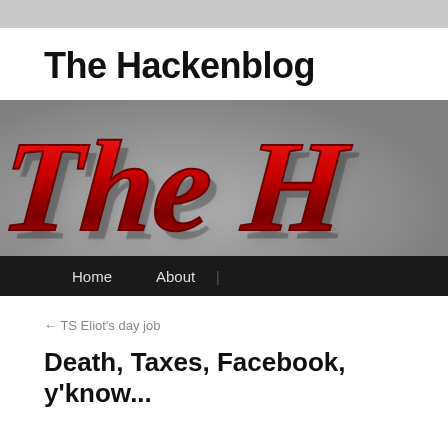The Hackenblog
[Figure (illustration): Banner image showing stylized red 3D script text reading 'The Hackenblog' on a gray background, partially cropped. Navigation bar below with 'Home' and 'About' links on a black background.]
← TS Eliot's day job
Death, Taxes, Facebook, y'know...